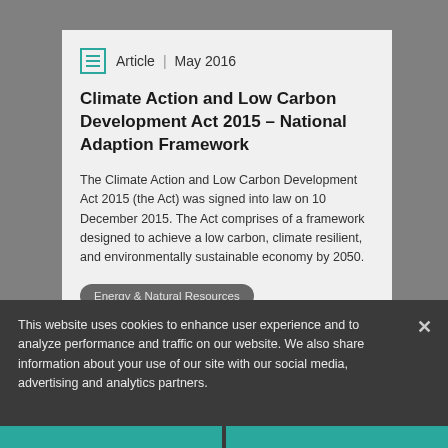Article | May 2016
Climate Action and Low Carbon Development Act 2015 – National Adaption Framework
The Climate Action and Low Carbon Development Act 2015 (the Act) was signed into law on 10 December 2015. The Act comprises of a framework designed to achieve a low carbon, climate resilient, and environmentally sustainable economy by 2050.
Energy & Natural Resources
Read More ▶
This website uses cookies to enhance user experience and to analyze performance and traffic on our website. We also share information about your use of our site with our social media, advertising and analytics partners.